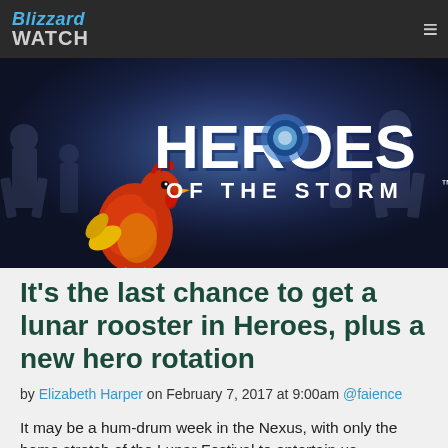Blizzard WATCH
[Figure (screenshot): Heroes of the Storm logo banner with a rooster character on the left side, dark blue/purple background]
It’s the last chance to get a lunar rooster in Heroes, plus a new hero rotation
by Elizabeth Harper on February 7, 2017 at 9:00am @faience
It may be a hum-drum week in the Nexus, with only the home stretch of the Lunar Festival to entertain us —